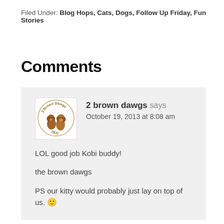Filed Under: Blog Hops, Cats, Dogs, Follow Up Friday, Fun Stories
Comments
2 brown dawgs says
October 19, 2013 at 8:08 am

LOL good job Kobi buddy!

the brown dawgs

PS our kitty would probably just lay on top of us. 🙂